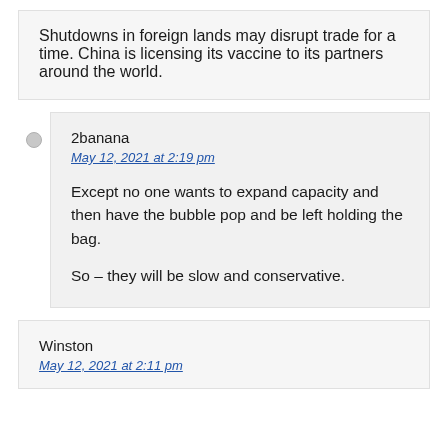Shutdowns in foreign lands may disrupt trade for a time. China is licensing its vaccine to its partners around the world.
2banana
May 12, 2021 at 2:19 pm
Except no one wants to expand capacity and then have the bubble pop and be left holding the bag.

So – they will be slow and conservative.
Winston
May 12, 2021 at 2:11 pm